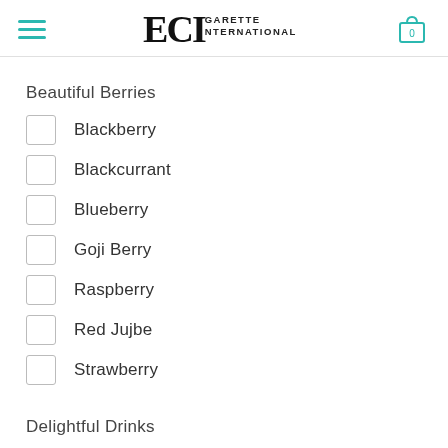ECIgarette International
Beautiful Berries
Blackberry
Blackcurrant
Blueberry
Goji Berry
Raspberry
Red Jujbe
Strawberry
Delightful Drinks
Amaretto
Beer